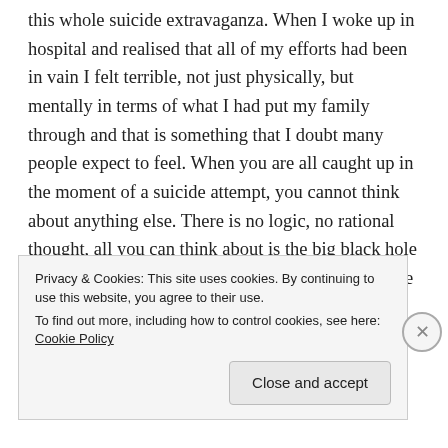this whole suicide extravaganza. When I woke up in hospital and realised that all of my efforts had been in vain I felt terrible, not just physically, but mentally in terms of what I had put my family through and that is something that I doubt many people expect to feel. When you are all caught up in the moment of a suicide attempt, you cannot think about anything else. There is no logic, no rational thought, all you can think about is the big black hole swallowing you up, the level of intense pain and the desperate need to make it stop. As selfish as it may sound, you cannot think about family or friends, not because you do not care about or love them
Privacy & Cookies: This site uses cookies. By continuing to use this website, you agree to their use.
To find out more, including how to control cookies, see here: Cookie Policy
Close and accept